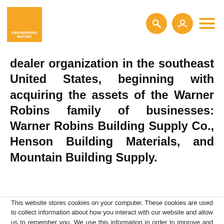ENGINEERING REPORT
dealer organization in the southeast United States, beginning with acquiring the assets of the Warner Robins family of businesses: Warner Robins Building Supply Co., Henson Building Materials, and Mountain Building Supply.
This website stores cookies on your computer. These cookies are used to collect information about how you interact with our website and allow us to remember you. We use this information in order to improve and customize your browsing experience and for analytics and metrics about our visitors both on this website and other media. To find out more about the cookies we use, see our Privacy Policy.
If you decline, your information won't be tracked when you visit this website. A single cookie will be used in your browser to remember your preference not to be tracked.